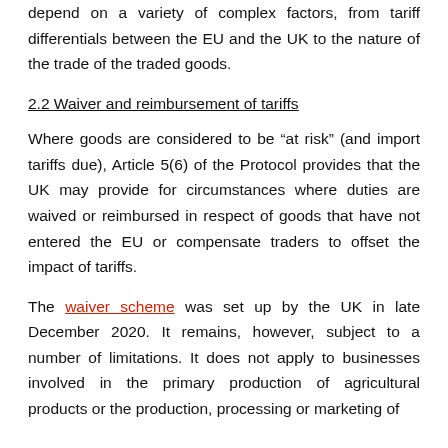depend on a variety of complex factors, from tariff differentials between the EU and the UK to the nature of the trade of the traded goods.
2.2 Waiver and reimbursement of tariffs
Where goods are considered to be “at risk” (and import tariffs due), Article 5(6) of the Protocol provides that the UK may provide for circumstances where duties are waived or reimbursed in respect of goods that have not entered the EU or compensate traders to offset the impact of tariffs.
The waiver scheme was set up by the UK in late December 2020. It remains, however, subject to a number of limitations. It does not apply to businesses involved in the primary production of agricultural products or the production, processing or marketing of